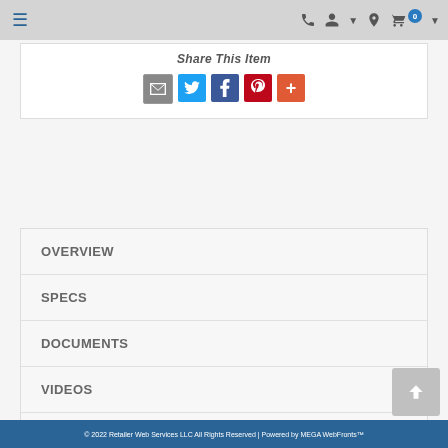Navigation bar with menu, phone, account, location, and cart icons
Share This Item
[Figure (infographic): Social share buttons: email (grey), Twitter (blue), Facebook (blue), Pinterest (red), More (orange-red)]
OVERVIEW
SPECS
DOCUMENTS
VIDEOS
DELIVERY
© 2022 Retailer Web Services LLC All Rights Reserved | Powered by MEGA WebFronts™